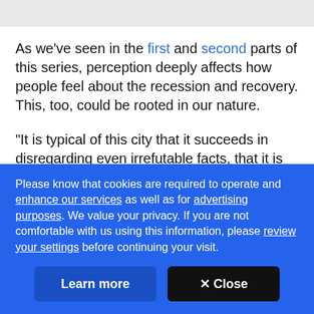As we've seen in the first and second parts of this series, perception deeply affects how people feel about the recession and recovery. This, too, could be rooted in our nature.
"It is typical of this city that it succeeds in disregarding even irrefutable facts, that it is convinced by its own incredible exaggerations and deceptions," writes Van
Please know that cookies are required to operate and enhance our services as well as for advertising purposes. We value your privacy. If you are not comfortable with us using this information, please review your settings before continuing your visit.